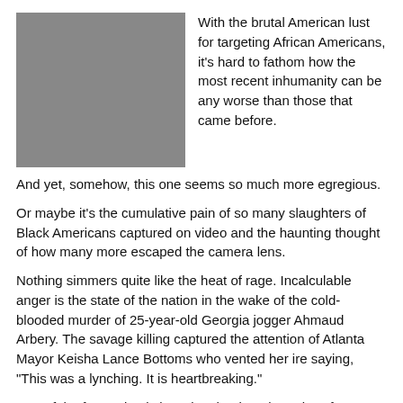[Figure (photo): Headshot of a man in a dark suit and tie, shown from chest up, facing slightly left.]
With the brutal American lust for targeting African Americans, it’s hard to fathom how the most recent inhumanity can be any worse than those that came before. And yet, somehow, this one seems so much more egregious.
Or maybe it’s the cumulative pain of so many slaughters of Black Americans captured on video and the haunting thought of how many more escaped the camera lens.
Nothing simmers quite like the heat of rage. Incalculable anger is the state of the nation in the wake of the cold-blooded murder of 25-year-old Georgia jogger Ahmaud Arbery. The savage killing captured the attention of Atlanta Mayor Keisha Lance Bottoms who vented her ire saying, “This was a lynching. It is heartbreaking.”
Part of the frustration is knowing that it took 74 days for an